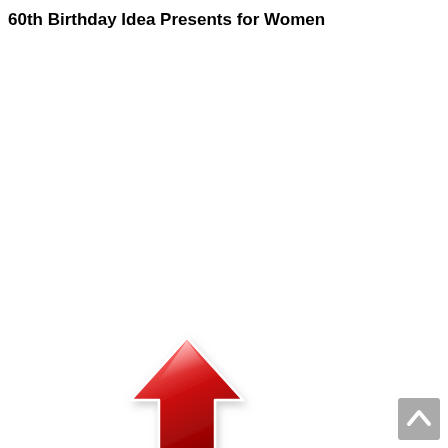60th Birthday Idea Presents for Women
[Figure (illustration): A red glossy upward-pointing arrow icon with a white highlight/sheen effect and a slight drop shadow, positioned in the lower-left area of the page.]
[Figure (illustration): A small grey square button with a white upward-pointing chevron/caret icon, positioned in the bottom-right corner of the page, resembling a 'back to top' button.]